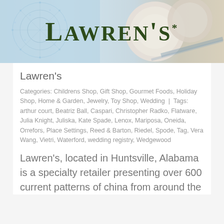[Figure (illustration): Banner image with blue decorative snowflake/crystal pattern on left, plates/china dishes on right, and Lawren's store name in large dark green serif font overlaid on center]
Lawren's
Categories: Childrens Shop, Gift Shop, Gourmet Foods, Holiday Shop, Home & Garden, Jewelry, Toy Shop, Wedding | Tags: arthur court, Beatriz Ball, Caspari, Christopher Radko, Flatware, Julia Knight, Juliska, Kate Spade, Lenox, Mariposa, Oneida, Orrefors, Place Settings, Reed & Barton, Riedel, Spode, Tag, Vera Wang, Vietri, Waterford, wedding registry, Wedgewood
Lawren's, located in Huntsville, Alabama is a specialty retailer presenting over 600 current patterns of china from around the